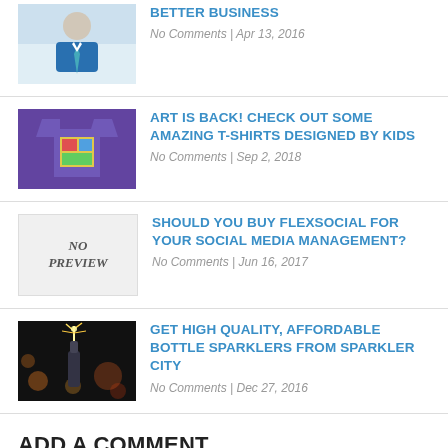[Figure (photo): Thumbnail of a man in a suit and tie against a light background]
BETTER BUSINESS
No Comments | Apr 13, 2016
[Figure (photo): Purple t-shirt with colorful design on it]
ART IS BACK! CHECK OUT SOME AMAZING T-SHIRTS DESIGNED BY KIDS
No Comments | Sep 2, 2018
[Figure (illustration): No Preview placeholder box with text NO PREVIEW]
SHOULD YOU BUY FLEXSOCIAL FOR YOUR SOCIAL MEDIA MANAGEMENT?
No Comments | Jun 16, 2017
[Figure (photo): Dark photo with sparkler bottle and bokeh lights in background]
GET HIGH QUALITY, AFFORDABLE BOTTLE SPARKLERS FROM SPARKLER CITY
No Comments | Dec 27, 2016
ADD A COMMENT
Your email address will not be published. Required fields are marked *